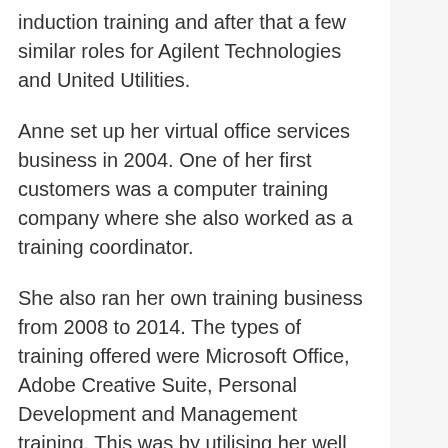induction training and after that a few similar roles for Agilent Technologies and United Utilities.
Anne set up her virtual office services business in 2004. One of her first customers was a computer training company where she also worked as a training coordinator.
She also ran her own training business from 2008 to 2014. The types of training offered were Microsoft Office, Adobe Creative Suite, Personal Development and Management training. This was by utilising her well earned skills from previous positions.
Virtual Training Coordinator – what's in it for you?